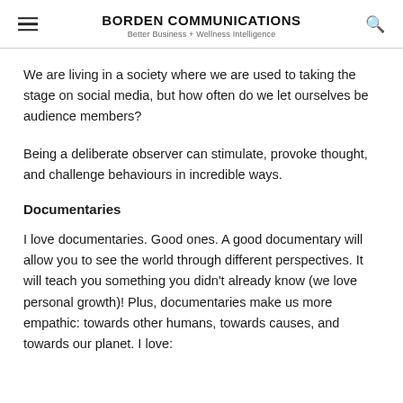BORDEN COMMUNICATIONS
Better Business + Wellness Intelligence
We are living in a society where we are used to taking the stage on social media, but how often do we let ourselves be audience members?
Being a deliberate observer can stimulate, provoke thought, and challenge behaviours in incredible ways.
Documentaries
I love documentaries. Good ones. A good documentary will allow you to see the world through different perspectives. It will teach you something you didn't already know (we love personal growth)! Plus, documentaries make us more empathic: towards other humans, towards causes, and towards our planet. I love: